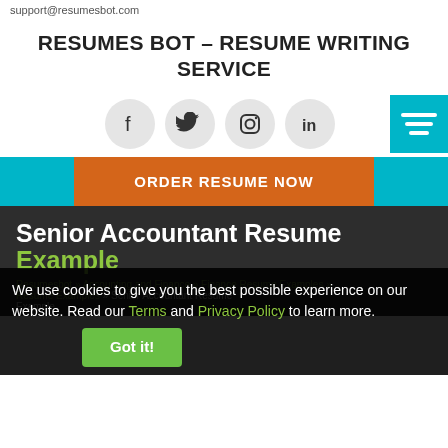support@resumesbot.com
RESUMES BOT – RESUME WRITING SERVICE
[Figure (infographic): Social media icons (Facebook, Twitter, Instagram, LinkedIn) in gray circles, plus a teal hamburger menu button on the right]
ORDER RESUME NOW
Senior Accountant Resume Example
We use cookies to give you the best possible experience on our website. Read our Terms and Privacy Policy to learn more.
Resumesbot » Accounting and Finance » Finance Resume Examples » Senior Accountant Resume Example
Got it!